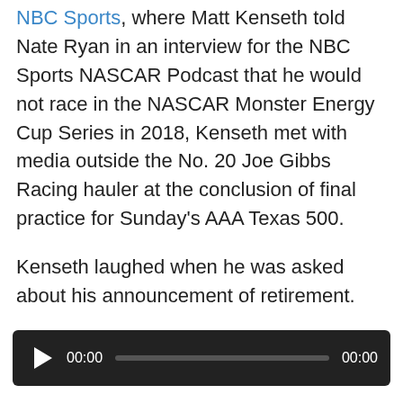NBC Sports, where Matt Kenseth told Nate Ryan in an interview for the NBC Sports NASCAR Podcast that he would not race in the NASCAR Monster Energy Cup Series in 2018, Kenseth met with media outside the No. 20 Joe Gibbs Racing hauler at the conclusion of final practice for Sunday's AAA Texas 500.
Kenseth laughed when he was asked about his announcement of retirement.
[Figure (other): Audio player widget with dark background, play button, 00:00 current time, progress bar, and 00:00 total time.]
“I don’t know if it’s necessarily an announcement,” Kenseth explained. “It just seems it’s time, in November. Everybody keeps asking about it, it’s just probably time to do something different.”